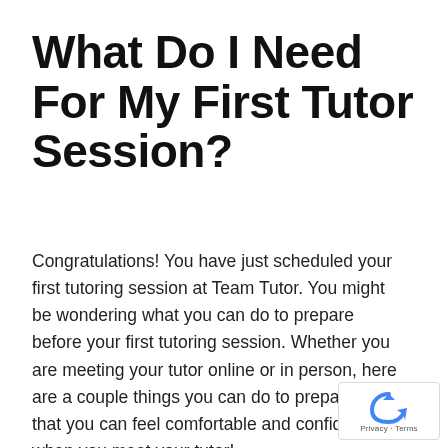What Do I Need For My First Tutor Session?
Congratulations! You have just scheduled your first tutoring session at Team Tutor. You might be wondering what you can do to prepare before your first tutoring session. Whether you are meeting your tutor online or in person, here are a couple things you can do to prepare so that you can feel comfortable and confident when you meet your tutor!
[Figure (logo): reCAPTCHA badge with blue recycling-arrow logo and 'Privacy - Terms' text]